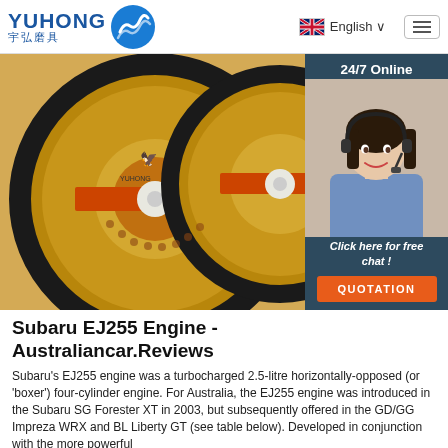[Figure (logo): Yuhong logo with blue wave graphic and Chinese characters 宇弘磨具]
[Figure (screenshot): Navigation bar with UK flag, English language selector dropdown, and hamburger menu button]
[Figure (photo): Two large golden/amber colored abrasive cutting/grinding discs with black edges and orange center bands, Yuhong brand]
[Figure (photo): 24/7 Online chat sidebar with woman wearing headset smiling, dark blue background, 'Click here for free chat!' text and QUOTATION orange button]
Subaru EJ255 Engine - Australiancar.Reviews
Subaru's EJ255 engine was a turbocharged 2.5-litre horizontally-opposed (or 'boxer') four-cylinder engine. For Australia, the EJ255 engine was introduced in the Subaru SG Forester XT in 2003, but subsequently offered in the GD/GG Impreza WRX and BL Liberty GT (see table below). Developed in conjunction with the more powerful